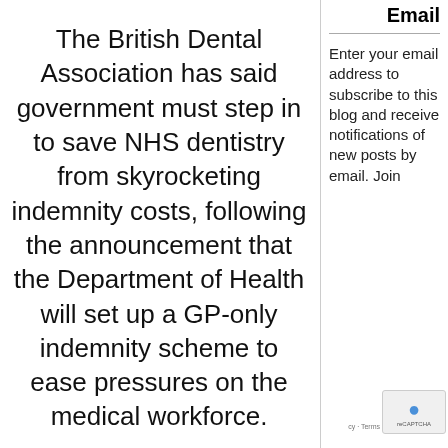The British Dental Association has said government must step in to save NHS dentistry from skyrocketing indemnity costs, following the announcement that the Department of Health will set up a GP-only indemnity scheme to ease pressures on the medical workforce.
Dentists have seen costs of compliance increase by 1086% in the last decade, while earnings have fallen by nearly 35% in real terms.
The pledge by Health Secretary Jeremy Hunt to the
Email
Enter your email address to subscribe to this blog and receive notifications of new posts by email. Join